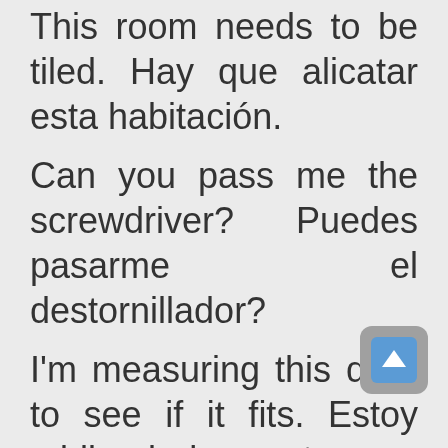This room needs to be tiled. Hay que alicatar esta habitación. Can you pass me the screwdriver? Puedes pasarme el destornillador? I'm measuring this door to see if it fits. Estoy midiendo la puerta para ver si cabe. Be careful on that